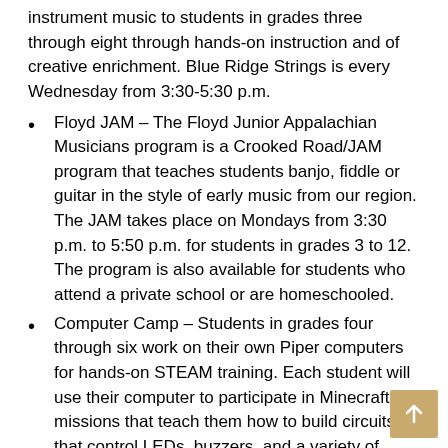instrument music to students in grades three through eight through hands-on instruction and of creative enrichment. Blue Ridge Strings is every Wednesday from 3:30-5:30 p.m.
Floyd JAM – The Floyd Junior Appalachian Musicians program is a Crooked Road/JAM program that teaches students banjo, fiddle or guitar in the style of early music from our region. The JAM takes place on Mondays from 3:30 p.m. to 5:50 p.m. for students in grades 3 to 12. The program is also available for students who attend a private school or are homeschooled.
Computer Camp – Students in grades four through six work on their own Piper computers for hands-on STEAM training. Each student will use their computer to participate in Minecraft missions that teach them how to build circuits that control LEDs, buzzers, and a variety of sensors. Students also spend time learning to code using Pipercode.
Robotics Club — The Robotics Club meets weekly after